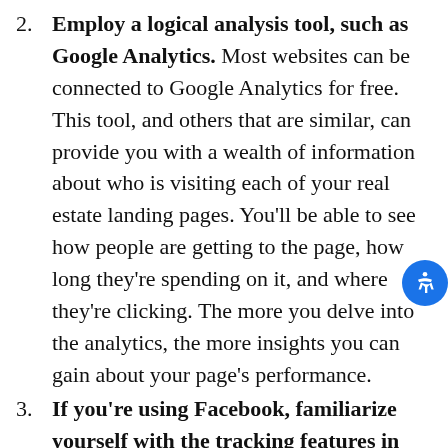2. Employ a logical analysis tool, such as Google Analytics. Most websites can be connected to Google Analytics for free. This tool, and others that are similar, can provide you with a wealth of information about who is visiting each of your real estate landing pages. You'll be able to see how people are getting to the page, how long they're spending on it, and where they're clicking. The more you delve into the analytics, the more insights you can gain about your page's performance.
3. If you're using Facebook, familiarize yourself with the tracking features in the platform. If you're paying to promote your landing page on Facebook, the platform provides in-depth data about your cost-per-click (CPC) and your click-through ratio (CTR). You can also track the amount of money you're spending to promote your pages to determine if it's worth it. If you've placed free posts on Facebook, you can also